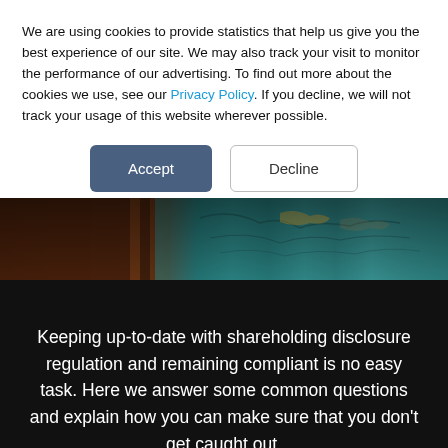We are using cookies to provide statistics that help us give you the best experience of our site. We may also track your visit to monitor the performance of our advertising. To find out more about the cookies we use, see our Privacy Policy. If you decline, we will not track your usage of this website wherever possible.
[Figure (photo): Close-up photo of vintage decorative globes showing map details in teal/green and brown tones]
Keeping up-to-date with shareholding disclosure regulation and remaining compliant is no easy task. Here we answer some common questions and explain how you can make sure that you don't get caught out.